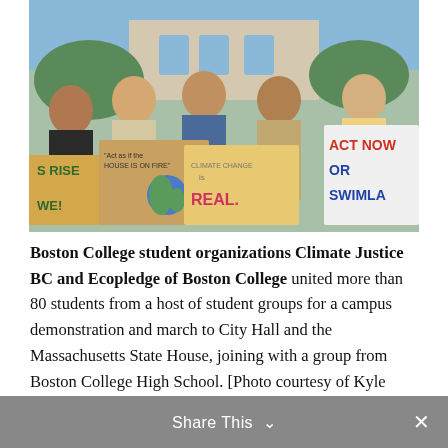[Figure (photo): Group of students holding protest signs at a climate rally. Signs read 'House is on Fire', 'Climate Change is Real', 'Act Now or Swim', 'S Rise We!' with a globe drawing. Students are smiling outdoors near a stone building.]
Boston College student organizations Climate Justice BC and Ecopledge of Boston College united more than 80 students from a host of student groups for a campus demonstration and march to City Hall and the Massachusetts State House, joining with a group from Boston College High School. [Photo courtesy of Kyle Rosenthal]
Share This ∨  ✕